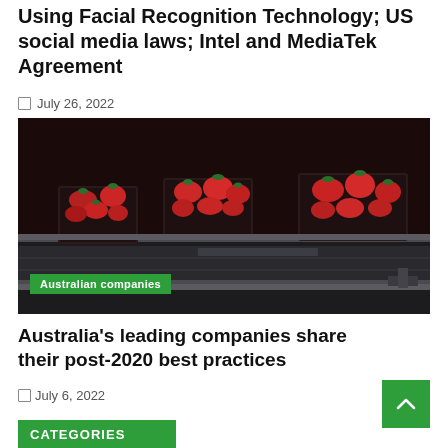Hashtag Trending July 26 – Australian Companies Stop Using Facial Recognition Technology; US social media laws; Intel and MediaTek Agreement
July 26, 2022
[Figure (photo): Photo of strawberries in plastic punnets on a conveyor belt, with a green badge overlay reading 'Australian companies']
Australia's leading companies share their post-2020 best practices
July 6, 2022
CATEGORIES